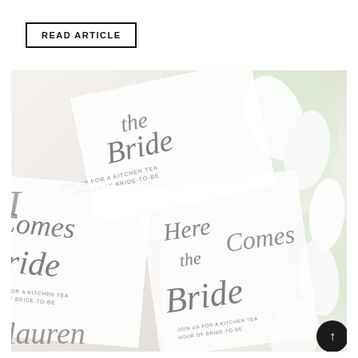READ ARTICLE
[Figure (photo): Overhead photo of wedding invitation cards with elegant calligraphy script reading 'Here Comes the Bride' and 'JOIN US FOR A KITCHEN TEA IN HONOUR OF BRIDE-TO-BE', overlaid with white floral arrangements (calla lilies) on the right side. Multiple overlapping invitation cards visible with script text including 'Here', 'Comes', 'Bride', 'lauren'. A black circular icon with an up-arrow appears in the bottom right corner.]